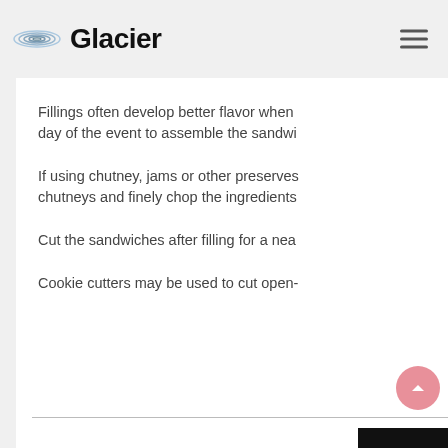Glacier
Fillings often develop better flavor when day of the event to assemble the sandwi
If using chutney, jams or other preserves chutneys and finely chop the ingredients
Cut the sandwiches after filling for a nea
Cookie cutters may be used to cut open-